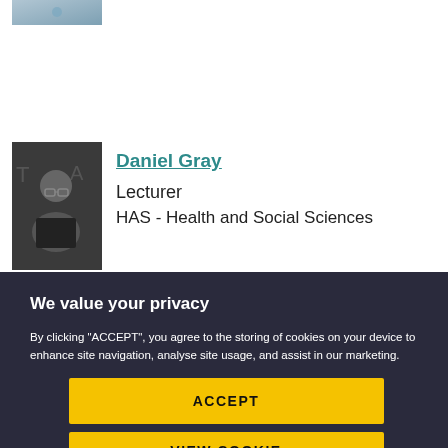[Figure (photo): Partial photo visible at top of page, cropped]
[Figure (photo): Photo of Daniel Gray, a man in a black shirt speaking or presenting]
Daniel Gray
Lecturer
HAS - Health and Social Sciences
We value your privacy
By clicking "ACCEPT", you agree to the storing of cookies on your device to enhance site navigation, analyse site usage, and assist in our marketing.
ACCEPT
VIEW COOKIE SETTINGS